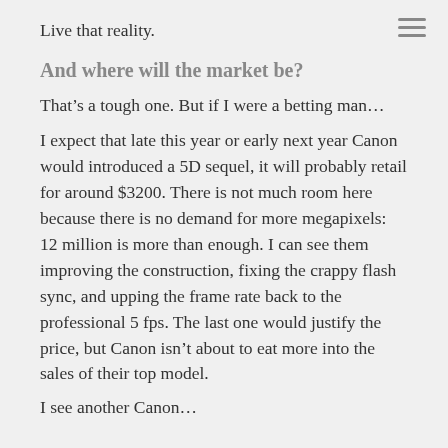Live that reality.
And where will the market be?
That’s a tough one. But if I were a betting man…
I expect that late this year or early next year Canon would introduced a 5D sequel, it will probably retail for around $3200. There is not much room here because there is no demand for more megapixels: 12 million is more than enough. I can see them improving the construction, fixing the crappy flash sync, and upping the frame rate back to the professional 5 fps. The last one would justify the price, but Canon isn’t about to eat more into the sales of their top model.
I see another Canon...